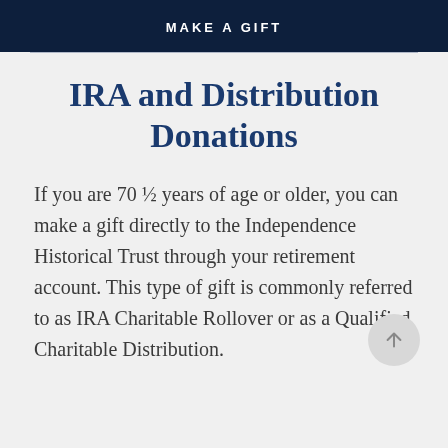MAKE A GIFT
IRA and Distribution Donations
If you are 70 ½ years of age or older, you can make a gift directly to the Independence Historical Trust through your retirement account. This type of gift is commonly referred to as IRA Charitable Rollover or as a Qualified Charitable Distribution.